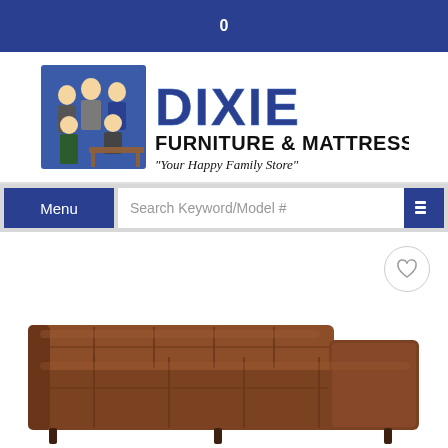0
[Figure (logo): Dixie Furniture & Mattress logo with cartoon businessmen figures and text 'DIXIE FURNITURE & MATTRESS - Your Happy Family Store']
[Figure (screenshot): Website navigation bar with Menu button, Search Keyword/Model # input field, and search icon button]
[Figure (photo): Brown leather tufted sectional sofa product photo, partially visible at the bottom of the page, with a heart/wishlist button in the upper right corner]